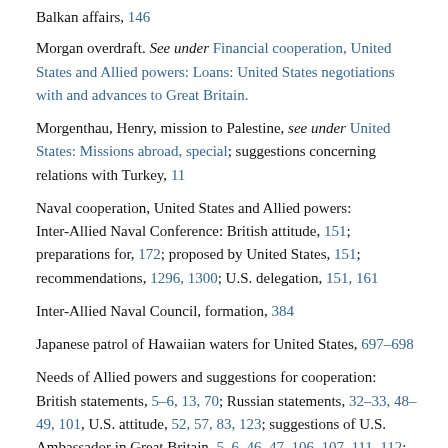Balkan affairs, 146
Morgan overdraft. See under Financial cooperation, United States and Allied powers: Loans: United States negotiations with and advances to Great Britain.
Morgenthau, Henry, mission to Palestine, see under United States: Missions abroad, special; suggestions concerning relations with Turkey, 11
Naval cooperation, United States and Allied powers: Inter-Allied Naval Conference: British attitude, 151; preparations for, 172; proposed by United States, 151; recommendations, 1296, 1300; U.S. delegation, 151, 161
Inter-Allied Naval Council, formation, 384
Japanese patrol of Hawaiian waters for United States, 697-698
Needs of Allied powers and suggestions for cooperation: British statements, 5-6, 13, 70; Russian statements, 32-33, 48-49, 101, U.S. attitude, 52, 57, 83, 123; suggestions of U.S. Ambassador in Great Britain, 5-6, 46-47, 106-107, 111-112; U.S. War Mission (November-December), report, 384-386
U.S. naval mission at London: departure of Admiral Sims, 8;